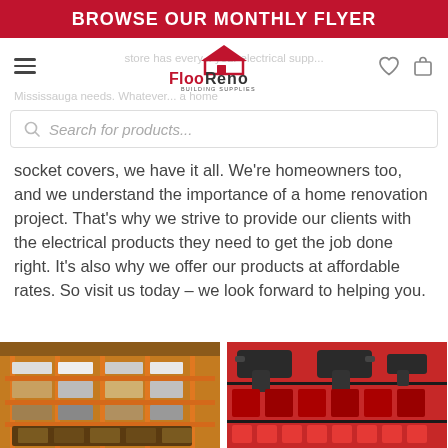BROWSE OUR MONTHLY FLYER
[Figure (logo): FlooReno Building Supplies logo with house roof icon above stylized text]
store has every... your electrical supp... Mississauga needs. Whatever... a home
Search for products...
socket covers, we have it all. We're homeowners too, and we understand the importance of a home renovation project. That's why we strive to provide our clients with the electrical products they need to get the job done right. It's also why we offer our products at affordable rates. So visit us today – we look forward to helping you.
[Figure (photo): Left: store shelf with orange shelving units filled with building supplies. Right: Milwaukee tool display with red power tools and accessories mounted on a retail display.]